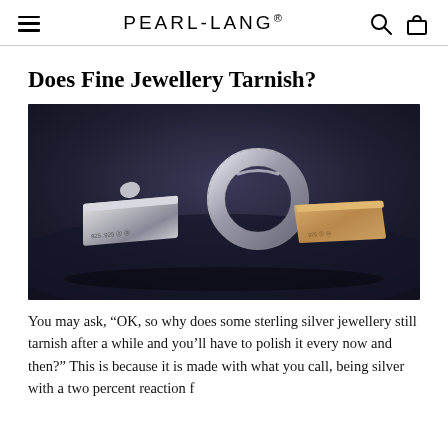PEARL-LANG®
Does Fine Jewellery Tarnish?
[Figure (photo): Close-up photograph of sterling silver jewellery pieces on a dark blue background, including what appears to be cufflinks and a ring with hallmark stamps visible.]
You may ask, “OK, so why does some sterling silver jewellery still tarnish after a while and you’ll have to polish it every now and then?” This is because it is made with what you call, being silver with a two percent reaction f…